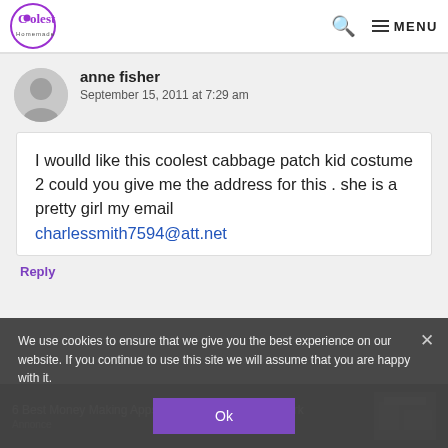Coolest Homemade Costumes — MENU
anne fisher
September 15, 2011 at 7:29 am
I woulld like this coolest cabbage patch kid costume 2 could you give me the address for this . she is a pretty girl my email charlessmith7594@att.net
Reply
6 Best Money Making Apps of 2023 That Actually Work
Annonce
We use cookies to ensure that we give you the best experience on our website. If you continue to use this site we will assume that you are happy with it.
Ok